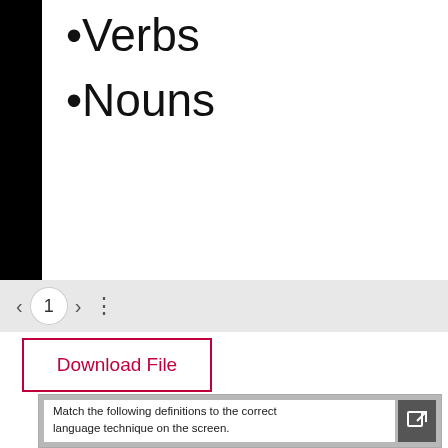•Verbs
•Nouns
[Figure (screenshot): Navigation bar with left arrow, page number 1 in circle, right arrow, and three-dot menu icon]
Download File
[Figure (screenshot): Embedded document preview with external link icon and text: Match the following definitions to the correct language technique on the screen.]